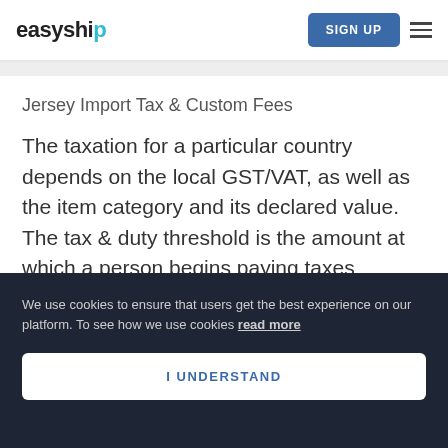easyship  SIGN UP
Jersey Import Tax & Custom Fees
The taxation for a particular country depends on the local GST/VAT, as well as the item category and its declared value. The tax & duty threshold is the amount at which a person begins paying taxes
We use cookies to ensure that users get the best experience on our platform. To see how we use cookies read more
I UNDERSTAND